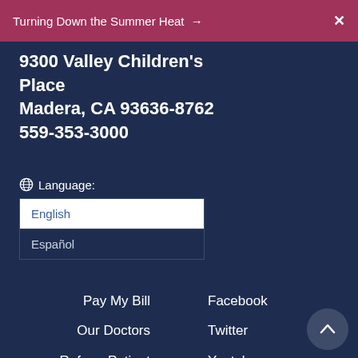Turning Down the Summer Heat → X
9300 Valley Children's Place
Madera, CA 93636-8762
559-353-3000
🌐 Language:
English
Español
Pay My Bill
Facebook
Our Doctors
Twitter
Refer a Patient
Youtube
Volunteer
Instagram